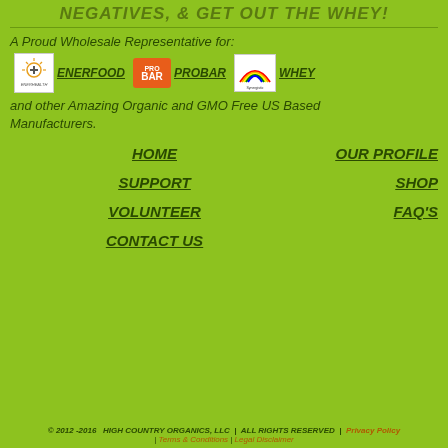NEGATIVES, & GET OUT THE WHEY!
A Proud Wholesale Representative for:
[Figure (logo): Three brand logos: ENERFOOD (sun/cross icon), PROBAR (orange box), WHEY (Synergistic Nutrition rainbow logo)]
and other Amazing Organic and GMO Free US Based Manufacturers.
HOME
OUR PROFILE
SUPPORT
SHOP
VOLUNTEER
FAQ'S
CONTACT US
© 2012 -2016   HIGH COUNTRY ORGANICS, LLC  |  ALL RIGHTS RESERVED  |  Privacy Policy | Terms & Conditions | Legal Disclaimer